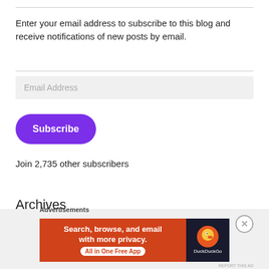Enter your email address to subscribe to this blog and receive notifications of new posts by email.
Email Address
Subscribe
Join 2,735 other subscribers
Archives
Advertisements
[Figure (screenshot): DuckDuckGo advertisement banner: orange left panel with text 'Search, browse, and email with more privacy. All in One Free App' and dark right panel with DuckDuckGo logo]